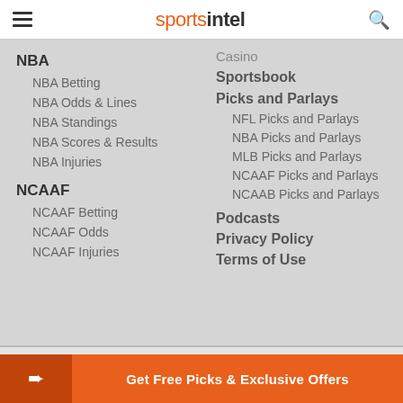sportsintel
NBA
NBA Betting
NBA Odds & Lines
NBA Standings
NBA Scores & Results
NBA Injuries
NCAAF
NCAAF Betting
NCAAF Odds
NCAAF Injuries
Casino
Sportsbook
Picks and Parlays
NFL Picks and Parlays
NBA Picks and Parlays
MLB Picks and Parlays
NCAAF Picks and Parlays
NCAAB Picks and Parlays
Podcasts
Privacy Policy
Terms of Use
Copyright © 2021 SportsIntel. All Rights Reserved.
Get Free Picks & Exclusive Offers